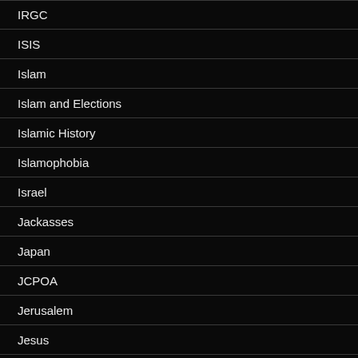IRGC
ISIS
Islam
Islam and Elections
Islamic History
Islamophobia
Israel
Jackasses
Japan
JCPOA
Jerusalem
Jesus
Jesus Christ